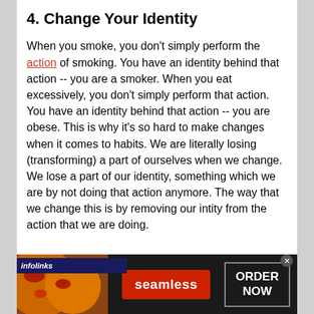4. Change Your Identity
When you smoke, you don't simply perform the action of smoking. You have an identity behind that action -- you are a smoker. When you eat excessively, you don't simply perform that action. You have an identity behind that action -- you are obese. This is why it's so hard to make changes when it comes to habits. We are literally losing (transforming) a part of ourselves when we change. We lose a part of our identity, something which we are by not doing that action anymore. The way that we change this is by removing our identity from the action that we are doing.
[Figure (screenshot): Infolinks ad banner overlay with Seamless food delivery advertisement showing pizza images, Seamless logo in red, and ORDER NOW button]